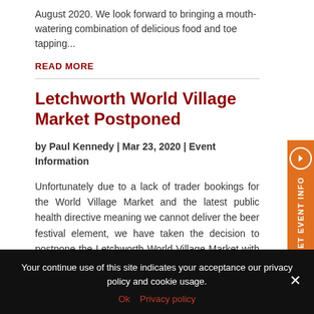August 2020. We look forward to bringing a mouth-watering combination of delicious food and toe tapping...
READ MORE
Letchworth World Village Market Postponed
by Paul Kennedy | Mar 23, 2020 | Event Information
Unfortunately due to a lack of trader bookings for the World Village Market and the latest public health directive meaning we cannot deliver the beer festival element, we have taken the decision to postpone the Letchworth World Village Market with beer festival...
Your continue use of this site indicates your acceptance our privacy policy and cookie usage.
Ok   Privacy policy